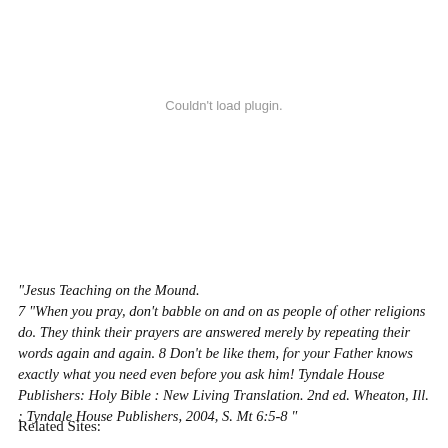Couldn't load plugin.
"Jesus Teaching on the Mound.
7 "When you pray, don't babble on and on as people of other religions do. They think their prayers are answered merely by repeating their words again and again. 8 Don't be like them, for your Father knows exactly what you need even before you ask him! Tyndale House Publishers: Holy Bible : New Living Translation. 2nd ed. Wheaton, Ill. : Tyndale House Publishers, 2004, S. Mt 6:5-8 "
Related Sites: